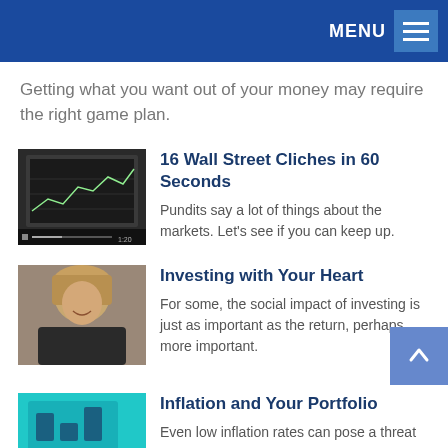MENU
Getting what you want out of your money may require the right game plan.
[Figure (screenshot): Thumbnail image of a tablet device showing a financial chart/data, with video player controls at the bottom showing time 1:20]
16 Wall Street Cliches in 60 Seconds
Pundits say a lot of things about the markets. Let's see if you can keep up.
[Figure (photo): Photo of a smiling person with blonde hair looking down, wearing a dark top]
Investing with Your Heart
For some, the social impact of investing is just as important as the return, perhaps more important.
[Figure (photo): Photo of a tablet displaying a teal/turquoise image with figures]
Inflation and Your Portfolio
Even low inflation rates can pose a threat